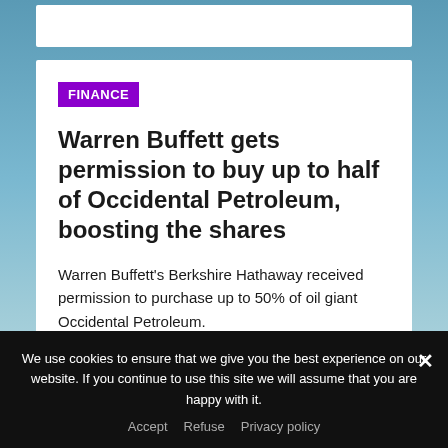FINANCE
Warren Buffett gets permission to buy up to half of Occidental Petroleum, boosting the shares
Warren Buffett's Berkshire Hathaway received permission to purchase up to 50% of oil giant Occidental Petroleum.
— — — — —
We use cookies to ensure that we give you the best experience on our website. If you continue to use this site we will assume that you are happy with it.
Accept   Refuse   Privacy policy